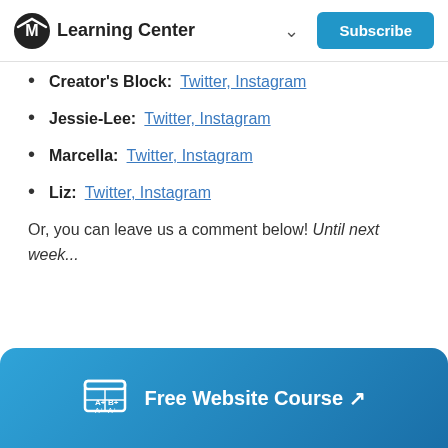Learning Center
Creator's Block: Twitter, Instagram
Jessie-Lee: Twitter, Instagram
Marcella: Twitter, Instagram
Liz: Twitter, Instagram
Or, you can leave us a comment below! Until next week...
Free Website Course ↗